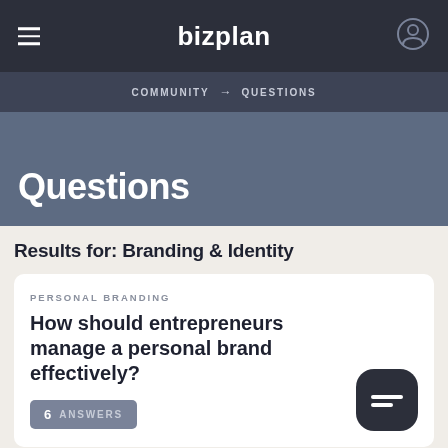bizplan
COMMUNITY → QUESTIONS
Questions
Results for: Branding & Identity
PERSONAL BRANDING
How should entrepreneurs manage a personal brand effectively?
6 ANSWERS